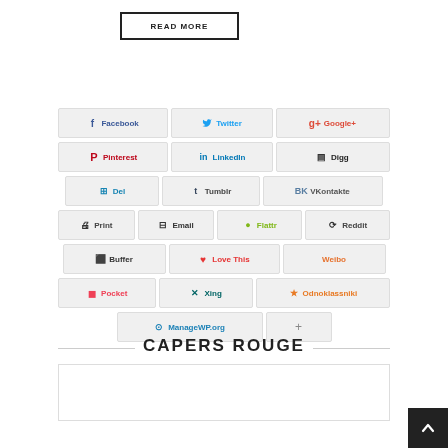READ MORE
[Figure (infographic): Social sharing buttons grid including Facebook, Twitter, Google+, Pinterest, LinkedIn, Digg, Del, Tumblr, VKontakte, Print, Email, Flattr, Reddit, Buffer, Love This, Weibo, Pocket, Xing, Odnoklassniki, ManageWP.org, and a plus button]
CAPERS ROUGE